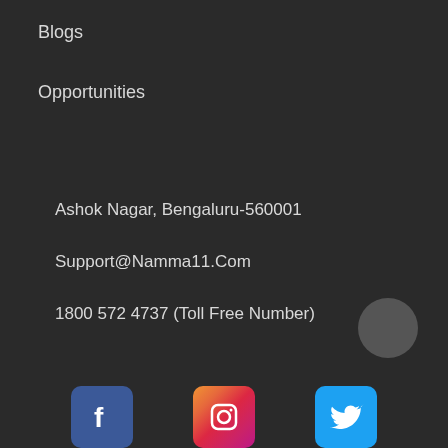Blogs
Opportunities
Ashok Nagar, Bengaluru-560001
Support@Namma11.Com
1800 572 4737 (Toll Free Number)
[Figure (logo): Facebook, Instagram, and Twitter social media icons at the bottom of the page]
[Figure (other): Gray circular scroll-to-top button in the bottom right corner]